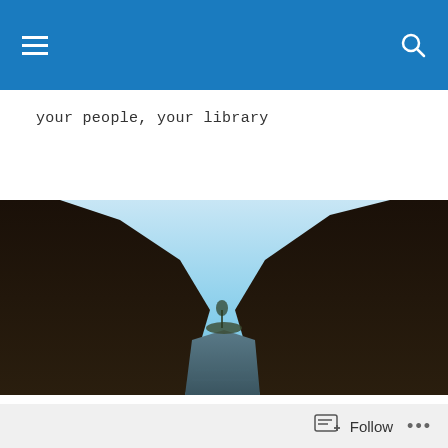your people, your library — site header with navigation and search
your people, your library
[Figure (photo): Landscape photograph of a reservoir or lake between two dark hillsides under a clear blue sky, with a bare tree visible in the distance.]
TAGGED WITH TERTIARY STUDY
Never too old to learn